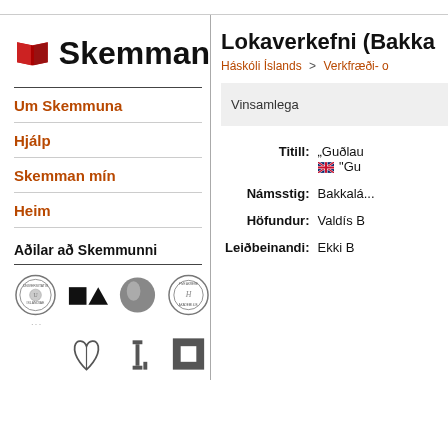[Figure (logo): Skemman logo with red book icon and bold black text 'Skemman']
Um Skemmuna
Hjálp
Skemman mín
Heim
Aðilar að Skemmunni
[Figure (logo): Row of university/institution logos]
Lokaverkefni (Bakka...
Háskóli Íslands > Verkfræði- o...
Vinsamlega...
| Label | Value |
| --- | --- |
| Titill: | „Guðlau... / "Gu... |
| Námsstig: | Bakkalá... |
| Höfundur: | Valdís B... |
| Leiðbeinandi: | Ekki B... |